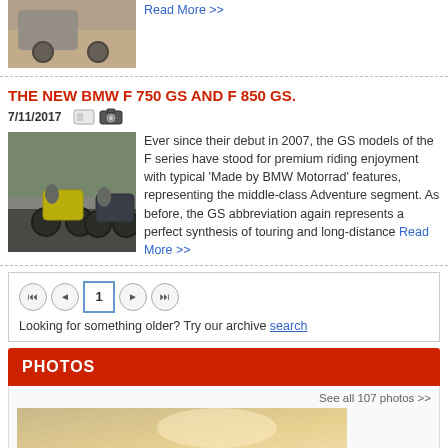[Figure (photo): Motorcycle on dirt trail (top partial image)]
Read More >>
THE NEW BMW F 750 GS AND F 850 GS.
7/11/2017
[Figure (photo): Two BMW GS motorcycles riding on road]
Ever since their debut in 2007, the GS models of the F series have stood for premium riding enjoyment with typical 'Made by BMW Motorrad' features, representing the middle-class Adventure segment. As before, the GS abbreviation again represents a perfect synthesis of touring and long-distance Read More >>
1  Looking for something older? Try our archive search
PHOTOS
See all 107 photos >>
[Figure (photo): Partial photo in photos section]